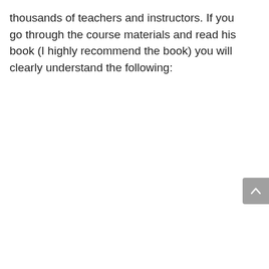thousands of teachers and instructors. If you go through the course materials and read his book (I highly recommend the book) you will clearly understand the following:
[Figure (other): A scroll-to-top button (upward chevron arrow on grey rounded rectangle background) in the bottom-right corner of the page.]